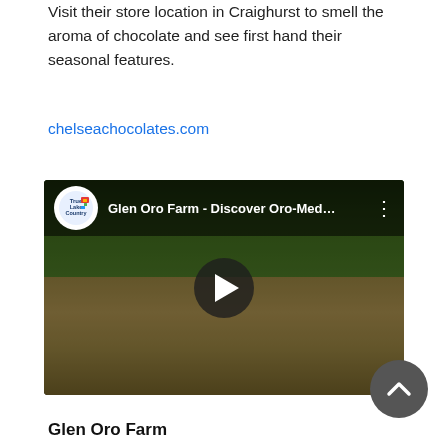Visit their store location in Craighurst to smell the aroma of chocolate and see first hand their seasonal features.
chelseachocolates.com
[Figure (screenshot): YouTube video thumbnail showing two people sitting outdoors exchanging food/drink, with a Lake Country channel logo and title 'Glen Oro Farm - Discover Oro-Med...' with a play button overlay]
Glen Oro Farm